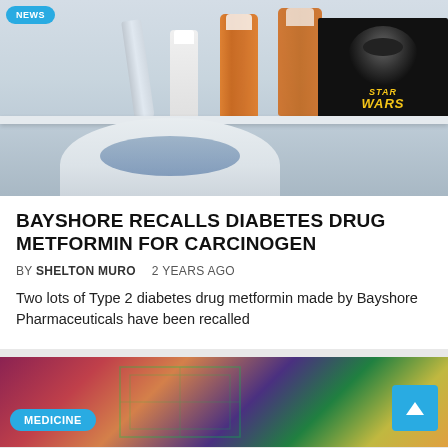[Figure (photo): Photo of a medicine cabinet shelf with various prescription pill bottles, a tube of cream, and a Star Wars box, along with what appears to be a blood pressure monitor below]
BAYSHORE RECALLS DIABETES DRUG METFORMIN FOR CARCINOGEN
BY SHELTON MURO   2 YEARS AGO
Two lots of Type 2 diabetes drug metformin made by Bayshore Pharmaceuticals have been recalled
[Figure (photo): Photo with colorful abstract/microscopic imagery with a MEDICINE badge label overlay and a scroll-to-top button]